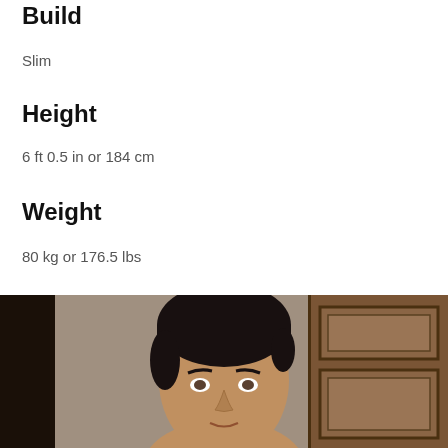Build
Slim
Height
6 ft 0.5 in or 184 cm
Weight
80 kg or 176.5 lbs
[Figure (photo): Photo of a slim man with dark hair, facing the camera, standing indoors near a wooden door]